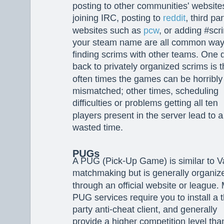posting to other communities' websites, joining IRC, posting to reddit, third party websites such as pcw, or adding #scrim to your steam name are all common ways of finding scrims with other teams. One draw back to privately organized scrims is that often times the games can be horribly mismatched; other times, scheduling difficulties or problems getting all ten players present in the server lead to a lot of wasted time.
PUGs
A PUG (Pick-Up Game) is similar to Valve's matchmaking but is generally organized through an official website or league. Many PUG services require you to install a third party anti-cheat client, and generally provide a higher competition level than you can find in Valve's MM servers. They also usually include some type of ranking system to make evenly matched teams, but do not include a ranked